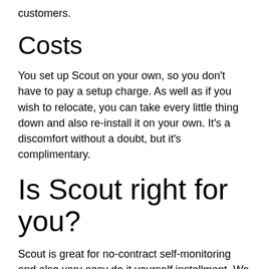customers.
Costs
You set up Scout on your own, so you don't have to pay a setup charge. As well as if you wish to relocate, you can take every little thing down and also re-install it on your own. It's a discomfort without a doubt, but it's complimentary.
Is Scout right for you?
Scout is great for no-contract self-monitoring and also very easy do it yourself installment. We additionally like that its expert surveillance prices less than the sector